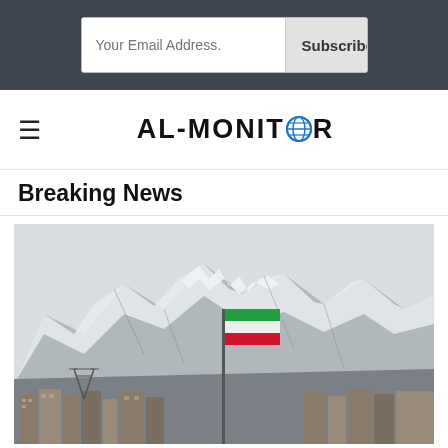Your Email Address. | Subscribe
[Figure (logo): AL-MONITOR logo with globe icon replacing the O in MONITOR]
Breaking News
[Figure (photo): Photograph of Tehran, Iran with snow-capped Alborz mountains in the background, an Iranian flag on a tall flagpole in the center, and city buildings/skyline in the foreground]